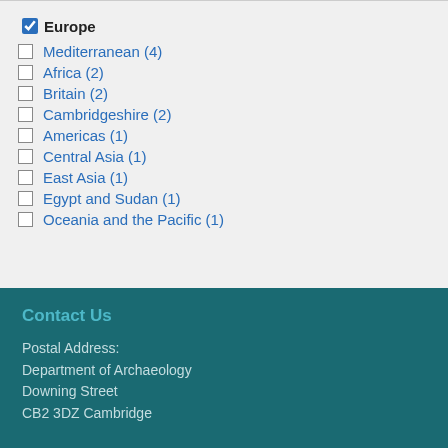Europe (checked)
Mediterranean (4)
Africa (2)
Britain (2)
Cambridgeshire (2)
Americas (1)
Central Asia (1)
East Asia (1)
Egypt and Sudan (1)
Oceania and the Pacific (1)
Contact Us
Postal Address:
Department of Archaeology
Downing Street
CB2 3DZ Cambridge